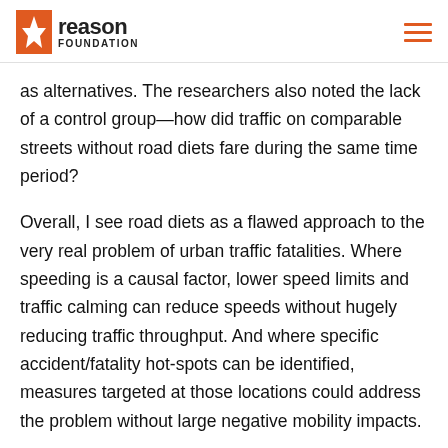Reason Foundation
as alternatives. The researchers also noted the lack of a control group—how did traffic on comparable streets without road diets fare during the same time period?
Overall, I see road diets as a flawed approach to the very real problem of urban traffic fatalities. Where speeding is a causal factor, lower speed limits and traffic calming can reduce speeds without hugely reducing traffic throughput. And where specific accident/fatality hot-spots can be identified, measures targeted at those locations could address the problem without large negative mobility impacts.